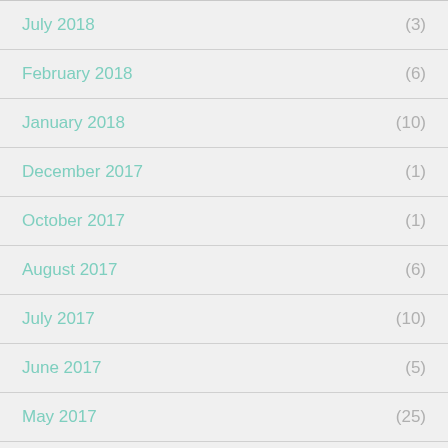July 2018 (3)
February 2018 (6)
January 2018 (10)
December 2017 (1)
October 2017 (1)
August 2017 (6)
July 2017 (10)
June 2017 (5)
May 2017 (25)
April 2017 (29)